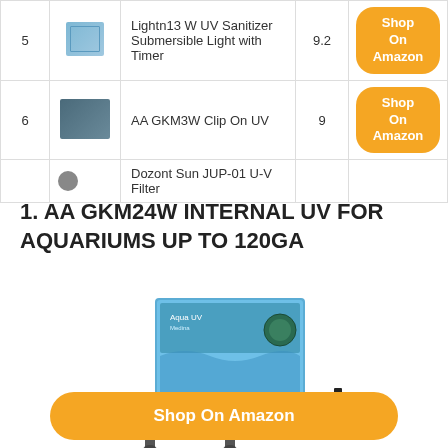| # | Image | Product | Score | Link |
| --- | --- | --- | --- | --- |
| 5 | [img] | Lightn13 W UV Sanitizer Submersible Light with Timer | 9.2 | Shop On Amazon |
| 6 | [img] | AA GKM3W Clip On UV | 9 | Shop On Amazon |
| 7 | [img] | Dozont Sun JUP-01 U-V Filter |  |  |
1. AA GKM24W INTERNAL UV FOR AQUARIUMS UP TO 120GA
[Figure (photo): AA GKM24W Internal UV aquarium filter product photo showing the device and its packaging box]
Shop On Amazon